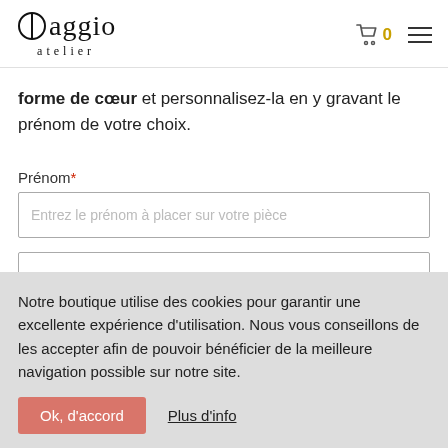Oaggio atelier — cart 0
forme de cœur et personnalisez-la en y gravant le prénom de votre choix.
Prénom*
Entrez le prénom à placer sur votre pièce
Notre boutique utilise des cookies pour garantir une excellente expérience d'utilisation. Nous vous conseillons de les accepter afin de pouvoir bénéficier de la meilleure navigation possible sur notre site.
Ok, d'accord   Plus d'info